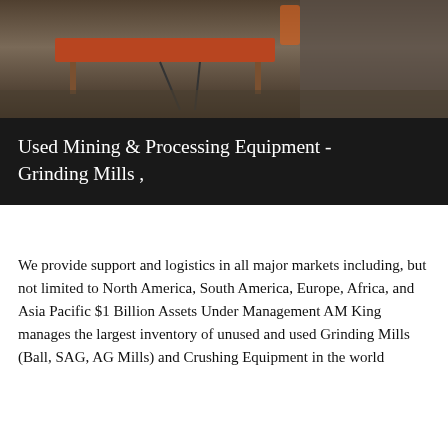[Figure (photo): Industrial mining equipment scene showing a red/orange metal table or platform in an outdoor industrial setting with concrete and stone background]
Used Mining & Processing Equipment - Grinding Mills ,
We provide support and logistics in all major markets including, but not limited to North America, South America, Europe, Africa, and Asia Pacific $1 Billion Assets Under Management AM King manages the largest inventory of unused and used Grinding Mills (Ball, SAG, AG Mills) and Crushing Equipment in the world
[Figure (photo): Bottom portion of another mining equipment photo, partially visible, showing a person or equipment in a grey/light outdoor setting]